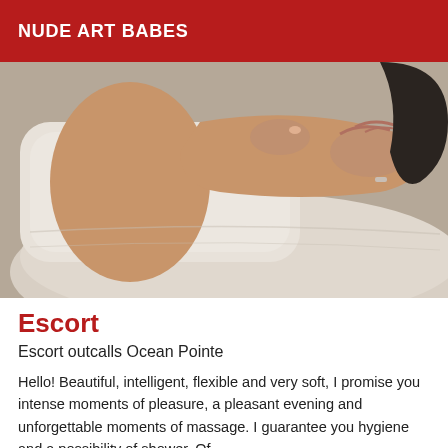NUDE ART BABES
[Figure (photo): Close-up photo of a person lying on a bed with cream/beige pillows, showing arms and partial torso against neutral bedding]
Escort
Escort outcalls Ocean Pointe
Hello! Beautiful, intelligent, flexible and very soft, I promise you intense moments of pleasure, a pleasant evening and unforgettable moments of massage. I guarantee you hygiene and a possibility of shower. Of